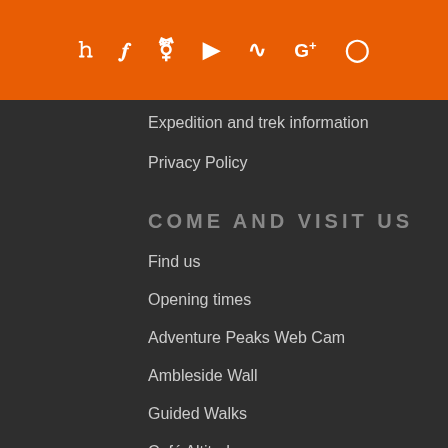Social media icons: Twitter, Facebook, Pinterest, YouTube, RSS, Google+, Instagram
Expedition and trek information
Privacy Policy
COME AND VISIT US
Find us
Opening times
Adventure Peaks Web Cam
Ambleside Wall
Guided Walks
Café Altitude